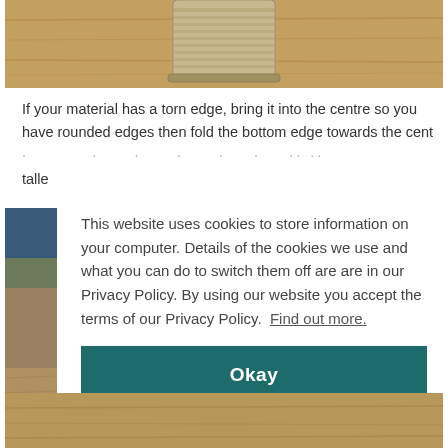[Figure (photo): Top photo showing a tin can on a wooden surface, cropped at top]
If your material has a torn edge, bring it into the centre so you have rounded edges then fold the bottom edge towards the cent · · · · · · · · · · · · · · · ·
talle
[Figure (photo): Left side photo showing blue and wood-toned crafting materials]
This website uses cookies to store information on your computer. Details of the cookies we use and what you can do to switch them off are are in our Privacy Policy. By using our website you accept the terms of our Privacy Policy.  Find out more.
[Figure (photo): Bottom photo showing a wooden surface/material]
Okay